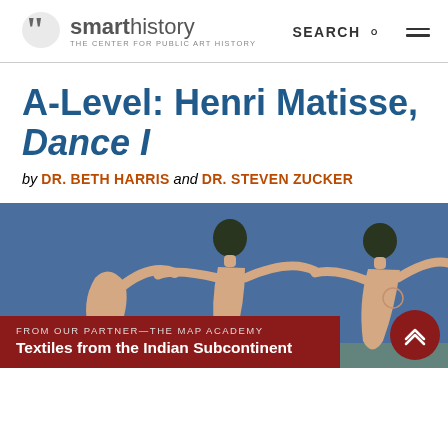[Figure (logo): Smarthistory logo — stylized quotation mark icon and text 'smarthistory / THE CENTER FOR PUBLIC ART HISTORY']
A-Level: Henri Matisse, Dance I
by DR. BETH HARRIS and DR. STEVEN ZUCKER
[Figure (photo): Cropped painting of Henri Matisse's Dance I showing three nude figures on a blue background, holding hands in a circle]
FROM OUR PARTNER—THE MAP ACADEMY
Textiles from the Indian Subcontinent